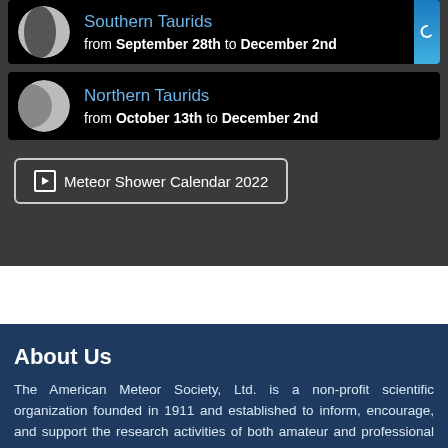Southern Taurids — from September 28th to December 2nd
Northern Taurids — from October 13th to December 2nd
▶ Meteor Shower Calendar 2022
About Us
The American Meteor Society, Ltd. is a non-profit scientific organization founded in 1911 and established to inform, encourage, and support the research activities of both amateur and professional astronomers who are interested in the fascinating field of Meteor Astronomy. Our affiliates observe, monitor, collect data on, study, and report on meteors, meteor showers, fireballs, and related meteoric phenomena. Please note that the AMS does not